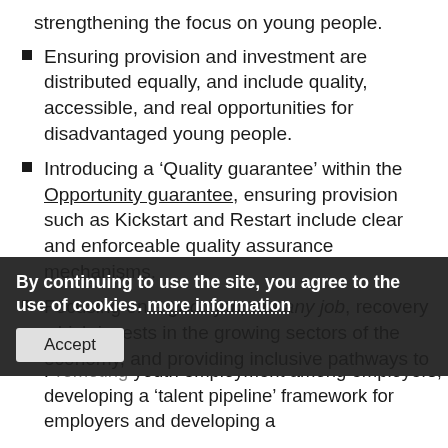strengthening the focus on young people.
Ensuring provision and investment are distributed equally, and include quality, accessible, and real opportunities for disadvantaged young people.
Introducing a ‘Quality guarantee’ within the Opportunity guarantee, ensuring provision such as Kickstart and Restart include clear and enforceable quality assurance mechanisms.
Focusing on a good job, not any job, recovery which invests in the growing sectors of the economy, and providing inclusive pathways to these opportunities.
Strengthening the focus on in-work progression and ensuring employment provision incorporates meaningful work experience.
Promoting youth employment among employers, by developing a ‘talent pipeline’ framework for employers and developing a